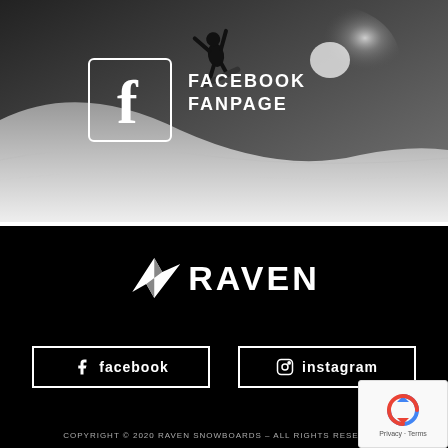[Figure (photo): Black and white photo of a snowboarder mid-air on a snowy mountain slope with a bright sun/light flare in the background. Overlaid with a Facebook icon (white outlined rounded square with 'f') and text 'FACEBOOK FANPAGE' in white.]
[Figure (logo): Raven Snowboards logo: stylized angular bird/arrow icon in white on black background next to bold white text 'RAVEN']
[Figure (infographic): Two white-outlined rectangular social media buttons on black background: one with Facebook icon and text 'facebook', one with Instagram icon and text 'instagram']
COPYRIGHT © 2020 RAVEN SNOWBOARDS – ALL RIGHTS RESERVED